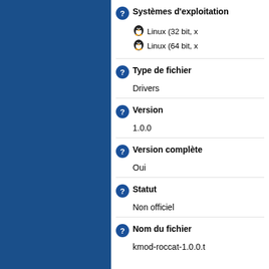Systèmes d'exploitation
Linux (32 bit, x…)
Linux (64 bit, x…)
Type de fichier
Drivers
Version
1.0.0
Version complète
Oui
Statut
Non officiel
Nom du fichier
kmod-roccat-1.0.0.t…